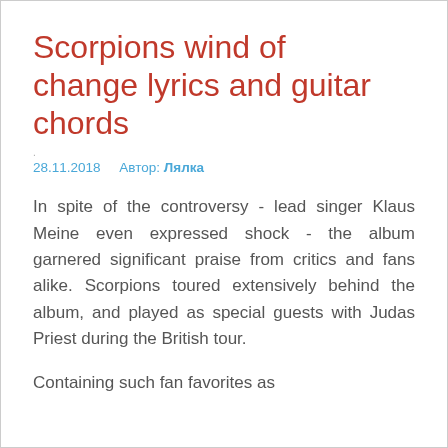Scorpions wind of change lyrics and guitar chords
. 28.11.2018   Автор: Лялка
In spite of the controversy - lead singer Klaus Meine even expressed shock - the album garnered significant praise from critics and fans alike. Scorpions toured extensively behind the album, and played as special guests with Judas Priest during the British tour.
Containing such fan favorites as